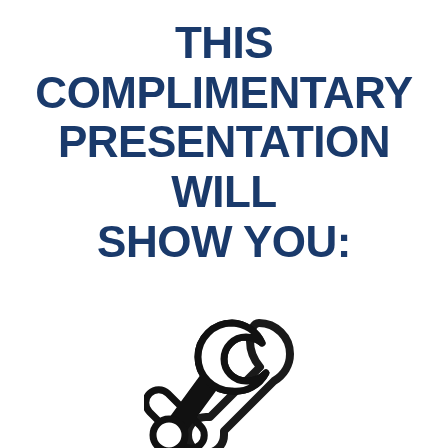THIS COMPLIMENTARY PRESENTATION WILL SHOW YOU:
[Figure (illustration): Black outline icon of a wrench tool, centered on page]
How each part of Medicare A through D works.